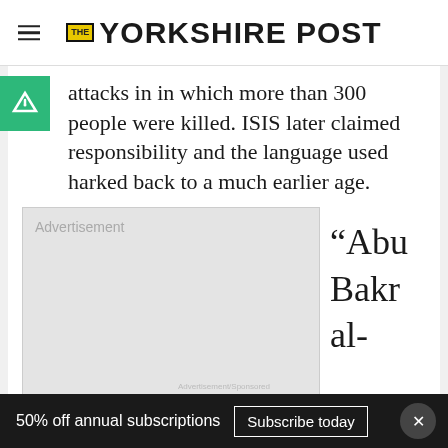THE YORKSHIRE POST
attacks in in which more than 300 people were killed. ISIS later claimed responsibility and the language used harked back to a much earlier age.
[Figure (other): Advertisement placeholder box with 'Advertisement' label in gray]
“Abu Bakr al-
[Figure (other): Men's Wearhouse advertisement banner showing suits at $229.99]
50% off annual subscriptions
Subscribe today